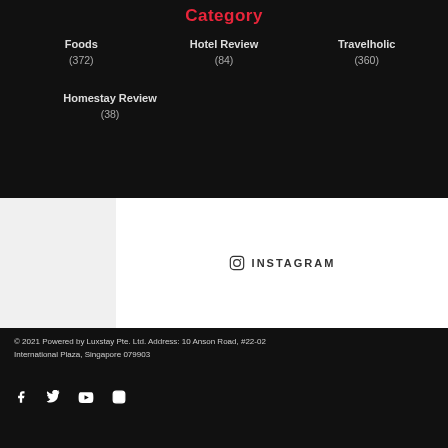Category
Foods (372)
Hotel Review (84)
Travelholic (360)
Homestay Review (38)
INSTAGRAM
© 2021 Powered by Luxstay Pte. Ltd. Address: 10 Anson Road, #22-02 International Plaza, Singapore 079903